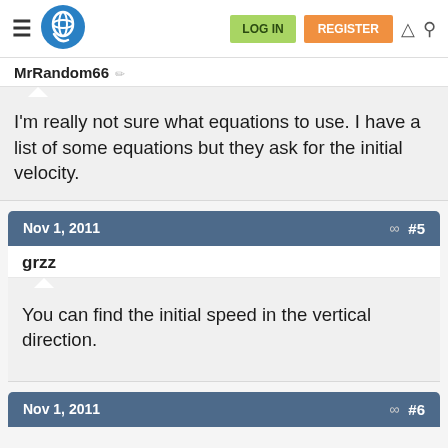LOG IN  REGISTER
MrRandom66
I'm really not sure what equations to use. I have a list of some equations but they ask for the initial velocity.
Nov 1, 2011  #5
grzz
You can find the initial speed in the vertical direction.